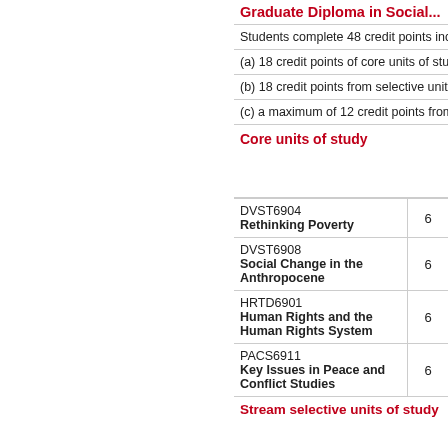Graduate Diploma in Social...
Students complete 48 credit points includ...
(a) 18 credit points of core units of study;
(b) 18 credit points from selective units of...
(c) a maximum of 12 credit points from el...
Core units of study
| Unit | Credit |
| --- | --- |
| DVST6904
Rethinking Poverty | 6 |
| DVST6908
Social Change in the Anthropocene | 6 |
| HRTD6901
Human Rights and the Human Rights System | 6 |
| PACS6911
Key Issues in Peace and Conflict Studies | 6 |
Stream selective units of study
| Unit | Credit |
| --- | --- |
| HRTD6903 | 6 |